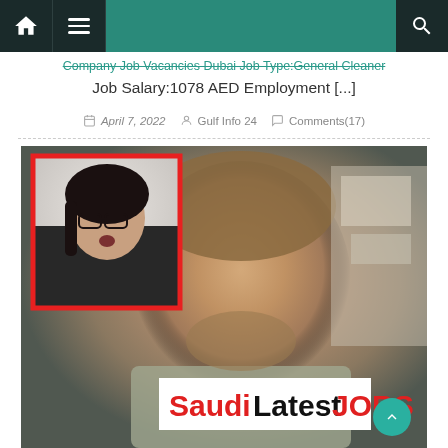Navigation bar with home icon, menu icon, and search icon
Company Job Vacancies Dubai Job Type:General Cleaner Job Salary:1078 AED Employment [...]
April 7, 2022   Gulf Info 24   Comments(17)
[Figure (photo): Composite image: background shows a young man with beard looking at a computer screen in an office setting. Foreground inset shows a young woman with glasses wearing a dark t-shirt, surrounded by a red border. SaudiLatestJOBS logo in white box at bottom.]